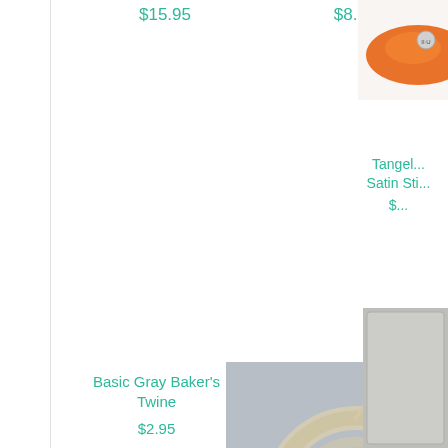$15.95
$8.95
Tangel... Satin Sti... $...
Basic Gray Baker's Twine
$2.95
[Figure (photo): Coiled linen thread on gray background]
Linen Thread
$4.50
[Figure (photo): Gold buttons on beige background, partially visible]
Gold B... B... $...
Brights Designer Buttons
$7.95
Pearl Basic Jewels Embellishments
$4.95
[Figure (photo): Partially visible product image at bottom right]